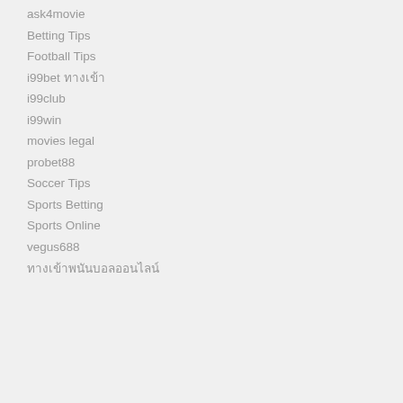ask4movie
Betting Tips
Football Tips
i99bet ทางเข้า
i99club
i99win
movies legal
probet88
Soccer Tips
Sports Betting
Sports Online
vegus688
ทางเข้าพนันบอลออนไลน์